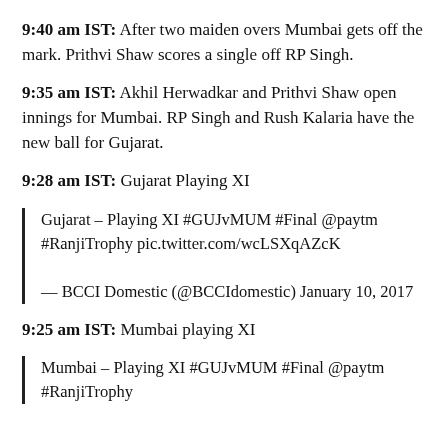9:40 am IST: After two maiden overs Mumbai gets off the mark. Prithvi Shaw scores a single off RP Singh.
9:35 am IST: Akhil Herwadkar and Prithvi Shaw open innings for Mumbai. RP Singh and Rush Kalaria have the new ball for Gujarat.
9:28 am IST: Gujarat Playing XI
Gujarat – Playing XI #GUJvMUM #Final @paytm #RanjiTrophy pic.twitter.com/wcLSXqAZcK
— BCCI Domestic (@BCCIdomestic) January 10, 2017
9:25 am IST: Mumbai playing XI
Mumbai – Playing XI #GUJvMUM #Final @paytm #RanjiTrophy